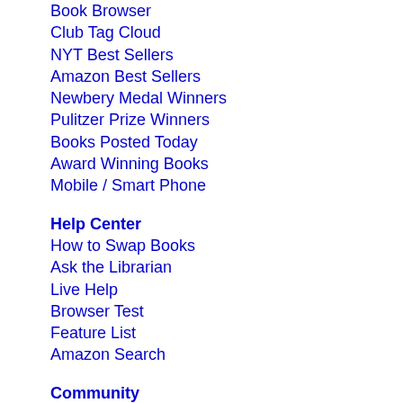Book Browser
Club Tag Cloud
NYT Best Sellers
Amazon Best Sellers
Newbery Medal Winners
Pulitzer Prize Winners
Books Posted Today
Award Winning Books
Mobile / Smart Phone
Help Center
How to Swap Books
Ask the Librarian
Live Help
Browser Test
Feature List
Amazon Search
Community
Invite Friends
Widgets & APIs
Feeds RSS/XML
Box-O-Books
Discussion Forums